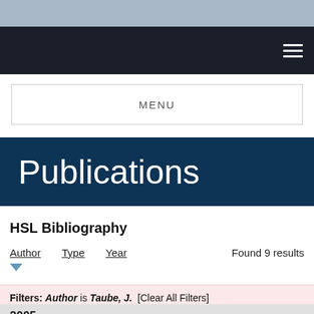Publications
HSL Bibliography
Author   Type   Year   Found 9 results
Filters: Author is Taube, J.  [Clear All Filters]
2005